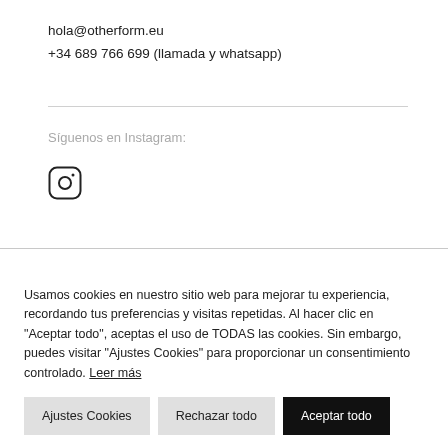hola@otherform.eu
+34 689 766 699 (llamada y whatsapp)
Síguenos en Instagram:
[Figure (illustration): Instagram icon (rounded square camera logo)]
Usamos cookies en nuestro sitio web para mejorar tu experiencia, recordando tus preferencias y visitas repetidas. Al hacer clic en "Aceptar todo", aceptas el uso de TODAS las cookies. Sin embargo, puedes visitar "Ajustes Cookies" para proporcionar un consentimiento controlado. Leer más
Ajustes Cookies | Rechazar todo | Aceptar todo